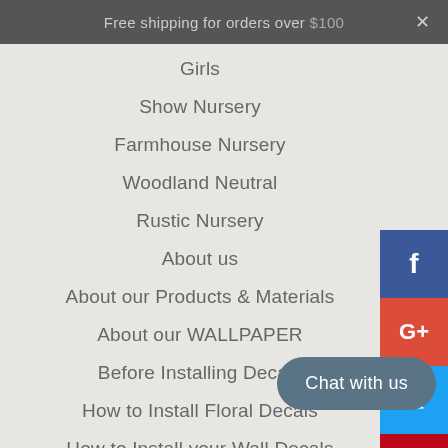Free shipping for orders over $100 ×
Girls
Show Nursery
Farmhouse Nursery
Woodland Neutral
Rustic Nursery
About us
About our Products & Materials
About our WALLPAPER
Before Installing Decals
How to Install Floral Decals
How to Install your Wall Decals
Order Processing and Shipping
FAQ's
Contact us
[Figure (infographic): Social media share buttons sidebar: Facebook (blue), Google+ (red), Twitter (cyan), Pinterest (pink-red), WhatsApp (green)]
Chat with us